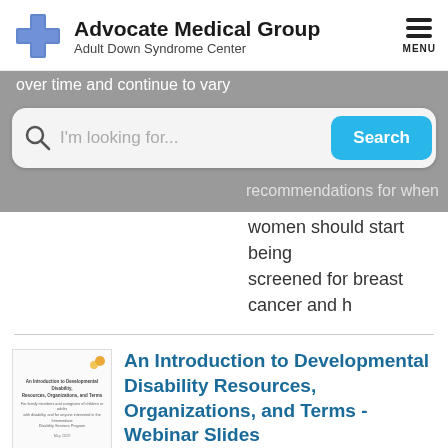[Figure (logo): Advocate Medical Group logo with blue cross icon and text 'Advocate Medical Group / Adult Down Syndrome Center', plus hamburger menu icon labeled MENU]
over time and continue to vary
I'm looking for... Search
recommendations for when women should start being screened for breast cancer and h
An Introduction to Developmental Disability Resources, Organizations, and Terms - Webinar Slides
Author: The Arc of Illinois - Presentation